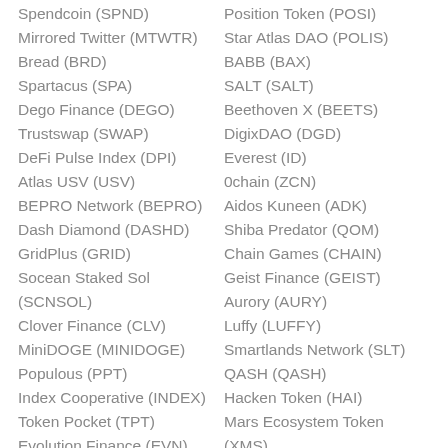Spendcoin (SPND)
Mirrored Twitter (MTWTR)
Bread (BRD)
Spartacus (SPA)
Dego Finance (DEGO)
Trustswap (SWAP)
DeFi Pulse Index (DPI)
Atlas USV (USV)
BEPRO Network (BEPRO)
Dash Diamond (DASHD)
GridPlus (GRID)
Socean Staked Sol (SCNSOL)
Clover Finance (CLV)
MiniDOGE (MINIDOGE)
Populous (PPT)
Index Cooperative (INDEX)
Token Pocket (TPT)
Evolution Finance (EVN)
Position Token (POSI)
Star Atlas DAO (POLIS)
BABB (BAX)
SALT (SALT)
Beethoven X (BEETS)
DigixDAO (DGD)
Everest (ID)
0chain (ZCN)
Aidos Kuneen (ADK)
Shiba Predator (QOM)
Chain Games (CHAIN)
Geist Finance (GEIST)
Aurory (AURY)
Luffy (LUFFY)
Smartlands Network (SLT)
QASH (QASH)
Hacken Token (HAI)
Mars Ecosystem Token (XMS)